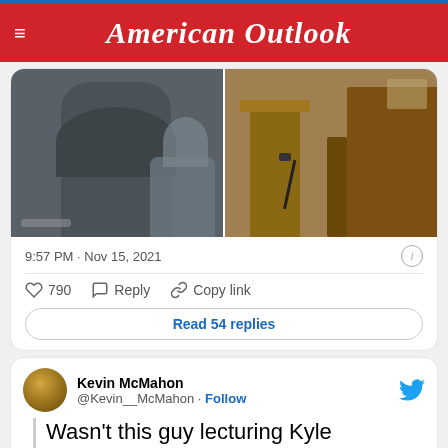American Outlook
[Figure (screenshot): Two side-by-side courtroom photos: left shows a man in grey suit from behind with arms raised, right shows wooden courtroom furniture including a podium and bench with microphone]
9:57 PM · Nov 15, 2021
790  Reply  Copy link
Read 54 replies
Kevin McMahon
@Kevin__McMahon · Follow
Wasn't this guy lecturing Kyle Rittenhouse about gun safety?